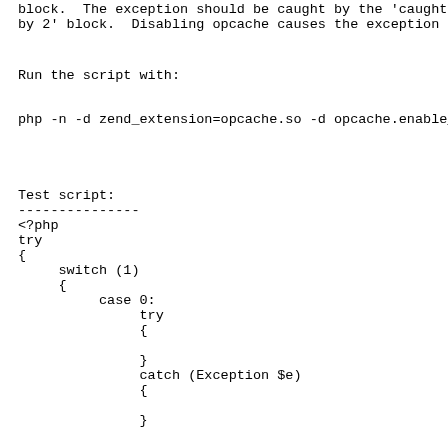block.  The exception should be caught by the 'caught by
by 2' block.  Disabling opcache causes the exception to
Run the script with:
php -n -d zend_extension=opcache.so -d opcache.enable_c
Test script:
---------------
<?php
try
{
     switch (1)
     {
          case 0:
               try
               {

               }
               catch (Exception $e)
               {

               }